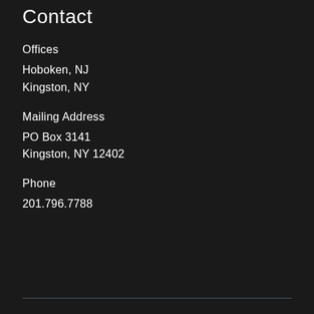Contact
Offices
Hoboken, NJ
Kingston, NY
Mailing Address
PO Box 3141
Kingston, NY 12402
Phone
201.796.7788